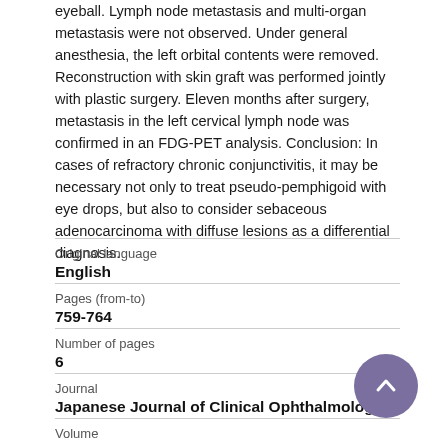eyeball. Lymph node metastasis and multi-organ metastasis were not observed. Under general anesthesia, the left orbital contents were removed. Reconstruction with skin graft was performed jointly with plastic surgery. Eleven months after surgery, metastasis in the left cervical lymph node was confirmed in an FDG-PET analysis. Conclusion: In cases of refractory chronic conjunctivitis, it may be necessary not only to treat pseudo-pemphigoid with eye drops, but also to consider sebaceous adenocarcinoma with diffuse lesions as a differential diagnosis.
| Field | Value |
| --- | --- |
| Original language | English |
| Pages (from-to) | 759-764 |
| Number of pages | 6 |
| Journal | Japanese Journal of Clinical Ophthalmology |
| Volume |  |